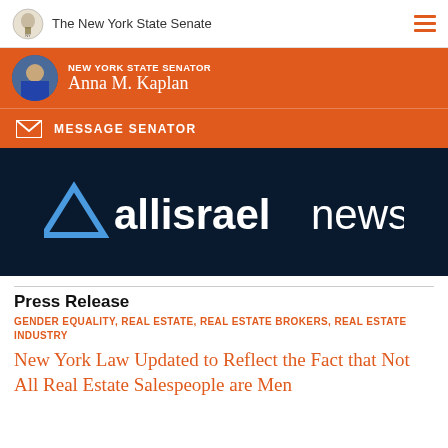The New York State Senate
NEW YORK STATE SENATOR Anna M. Kaplan
MESSAGE SENATOR
[Figure (logo): allisrael news logo on dark navy background]
Press Release
GENDER EQUALITY, REAL ESTATE, REAL ESTATE BROKERS, REAL ESTATE INDUSTRY
New York Law Updated to Reflect the Fact that Not All Real Estate Salespeople are Men